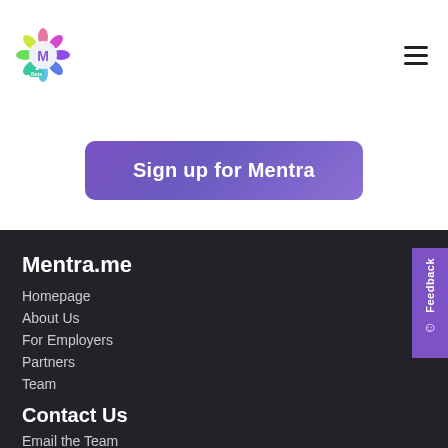[Figure (logo): Mentra logo — colorful flower-like icon with stylized M inside, Beta label below]
Sign up for Mentra
Mentra.me
Homepage
About Us
For Employers
Partners
Team
Contact Us
Email the Team